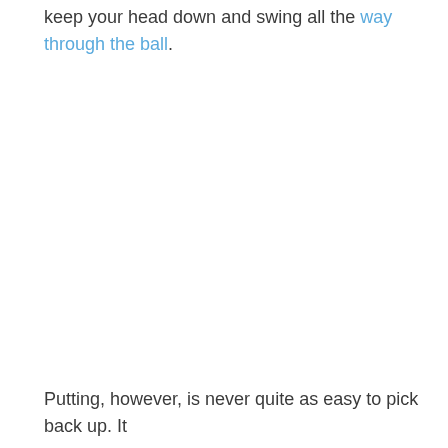keep your head down and swing all the way through the ball.
Putting, however, is never quite as easy to pick back up. It